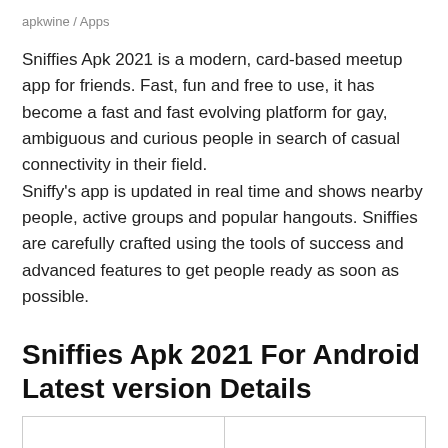apkwine / Apps
Sniffies Apk 2021 is a modern, card-based meetup app for friends. Fast, fun and free to use, it has become a fast and fast evolving platform for gay, ambiguous and curious people in search of casual connectivity in their field.
Sniffy’s app is updated in real time and shows nearby people, active groups and popular hangouts. Sniffies are carefully crafted using the tools of success and advanced features to get people ready as soon as possible.
Sniffies Apk 2021 For Android Latest version Details
|  |  |